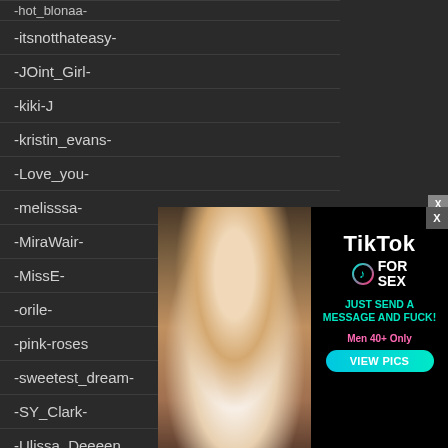-hot_blonaa-
-itsnotthateasy-
-JOint_Girl-
-kiki-J
-kristin_evans-
-Love_you-
-melisssa-
-MiraWair-
-MissE-
-orile-
-pink-roses
-sweetest_dream-
-SY_Clark-
-Ulissa_Deeeen
[Figure (photo): Photo of a blonde woman in a white top and burgundy blazer at a restaurant/bar setting]
[Figure (advertisement): TikTok for Sex advertisement with cyan and pink text on black background, VIEW PICS button]